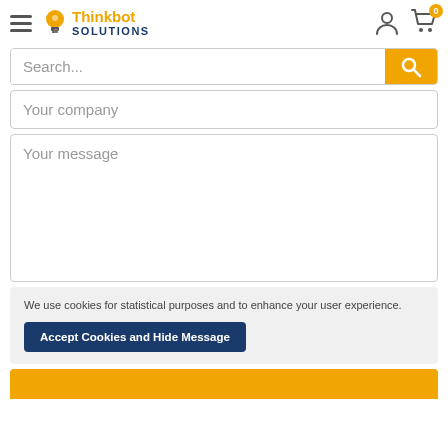Thinkbot Solutions
Search...
Your company
Your message
We use cookies for statistical purposes and to enhance your user experience.
Accept Cookies and Hide Message